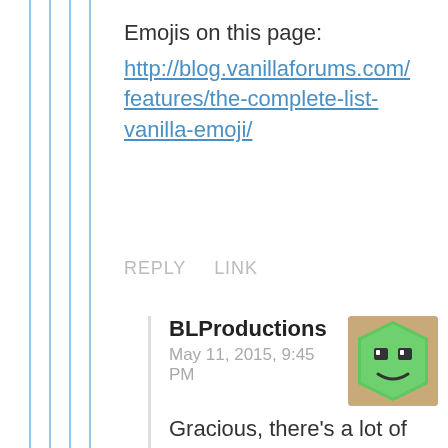Emojis on this page: http://blog.vanillaforums.com/features/the-complete-list-vanilla-emoji/
REPLY   LINK
BLProductions
May 11, 2015, 9:45 PM
Gracious, there's a lot of them. I think I'll stick to the older varieties, as their codes still seem to work. Yeah, I saw that the smileys weren't the problem, but as